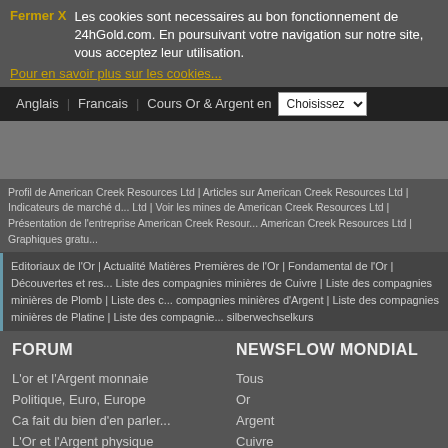Fermer X  Les cookies sont necessaires au bon fonctionnement de 24hGold.com. En poursuivant votre navigation sur notre site, vous acceptez leur utilisation.
Pour en savoir plus sur les cookies...
Anglais | Francais | Cours Or & Argent en | Choisissez
Profil de American Creek Resources Ltd | Articles sur American Creek Resources Ltd | Indicateurs de marché de American Creek Resources Ltd | Voir les mines de American Creek Resources Ltd | Présentation de l'entreprise American Creek Resources Ltd | Graphiques gratuits American Creek Resources Ltd
Editoriaux de l'Or | Actualité Matières Premières de l'Or | Fondamental de l'Or | Découvertes et res... | Liste des compagnies minières de Cuivre | Liste des compagnies minières de Plomb | Liste des compagnies minières d'Argent | Liste des compagnies minières de Platine | Liste des compagnies... silberwechselkurs
FORUM
L'or et l'Argent monnaie
Politique, Euro, Europe
Ca fait du bien d'en parler...
L'Or et l'Argent physique
Ebay, leboncoin, les brocantes
Les actions minières
Les Analyses Techniques
NEWSFLOW MONDIAL
Tous
Or
Argent
Cuivre
Zinc
PGM & Diamants
Autres métaux